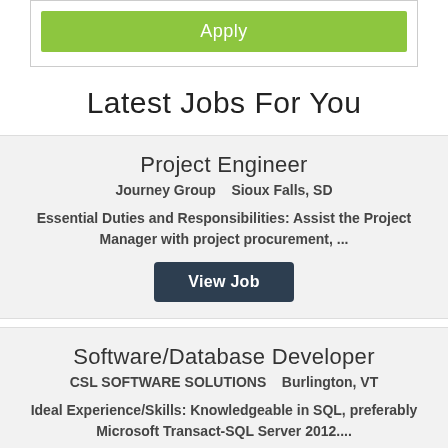[Figure (screenshot): Green Apply button inside a bordered box]
Latest Jobs For You
Project Engineer
Journey Group     Sioux Falls, SD
Essential Duties and Responsibilities: Assist the Project Manager with project procurement, ...
View Job
Software/Database Developer
CSL SOFTWARE SOLUTIONS     Burlington, VT
Ideal Experience/Skills: Knowledgeable in SQL, preferably Microsoft Transact-SQL Server 2012....
View Job
Entry Level Computer Programmer